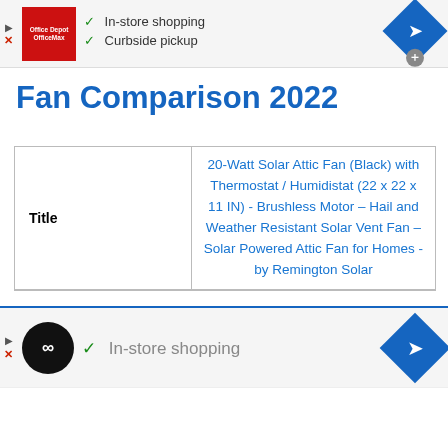[Figure (infographic): Top advertisement banner: Office Depot/OfficeMax logo, checkmarks for In-store shopping and Curbside pickup, navigation diamond icon]
Fan Comparison 2022
| Title | 20-Watt Solar Attic Fan (Black) with Thermostat / Humidistat (22 x 22 x 11 IN) - Brushless Motor – Hail and Weather Resistant Solar Vent Fan – Solar Powered Attic Fan for Homes - by Remington Solar |
| --- | --- |
[Figure (infographic): Bottom advertisement banner: Loop logo (black circle), checkmark for In-store shopping, navigation diamond icon]